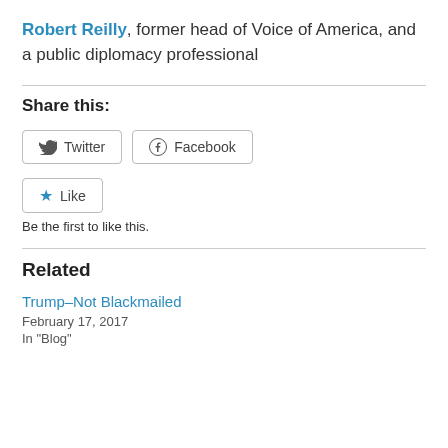Robert Reilly, former head of Voice of America, and a public diplomacy professional
Share this:
[Figure (other): Social share buttons: Twitter and Facebook]
[Figure (other): Like button with star icon]
Be the first to like this.
Related
Trump–Not Blackmailed
February 17, 2017
In "Blog"